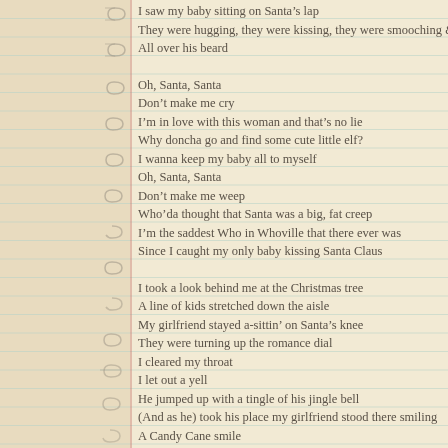I saw my baby sitting on Santa's lap
They were hugging, they were kissing, they were smooching &
All over his beard
Oh, Santa, Santa
Don't make me cry
I'm in love with this woman and that's no lie
Why doncha go and find some cute little elf?
I wanna keep my baby all to myself
Oh, Santa, Santa
Don't make me weep
Who'da thought that Santa was a big, fat creep
I'm the saddest Who in Whoville that there ever was
Since I caught my only baby kissing Santa Claus
I took a look behind me at the Christmas tree
A line of kids stretched down the aisle
My girlfriend stayed a-sittin' on Santa's knee
They were turning up the romance dial
I cleared my throat
I let out a yell
He jumped up with a tingle of his jingle bell
(And as he) took his place my girlfriend stood there smiling
A Candy Cane smile
Oh, Santa, Santa,
Don't make me sad
I love my little baby and I've been had
I looked the other way and how could I know